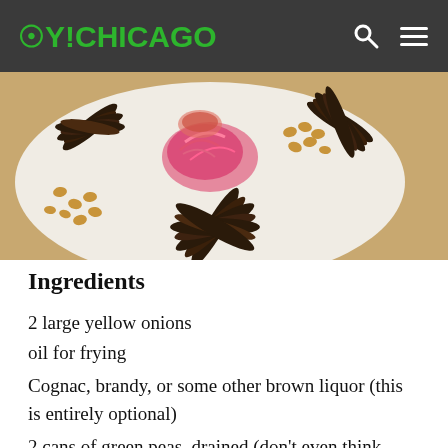OY!CHICAGO
[Figure (photo): A white plate with roasted or grilled eggplant slices fanned out decoratively, topped with pickled red onions in the center and walnuts scattered around.]
Ingredients
2 large yellow onions
oil for frying
Cognac, brandy, or some other brown liquor (this is entirely optional)
2 cans of green peas, drained (don't even think about